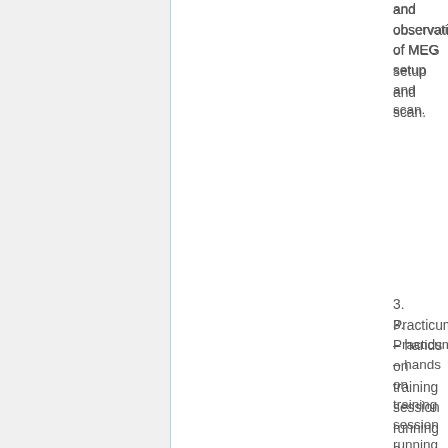and observation of MEG setup and scan.
3. Practicum – hands on training session running a subject during a MEG scan.
b. User training must be scheduled via